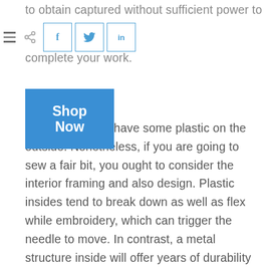to obtain captured without sufficient power to complete your work.
[Figure (other): Toolbar with menu/hamburger icon, share icon, and social media buttons for Facebook (f), Twitter (bird), and LinkedIn (in)]
[Figure (other): Blue 'Shop Now' button]
ching maker will have some plastic on the outside. Nonetheless, if you are going to sew a fair bit, you ought to consider the interior framing and also design. Plastic insides tend to break down as well as flex while embroidery, which can trigger the needle to move. In contrast, a metal structure inside will offer years of durability and accurate sewing.
I would be remiss if I did not touch on warranties. While not usual, occasionally a sewing equipment will certainly damage or